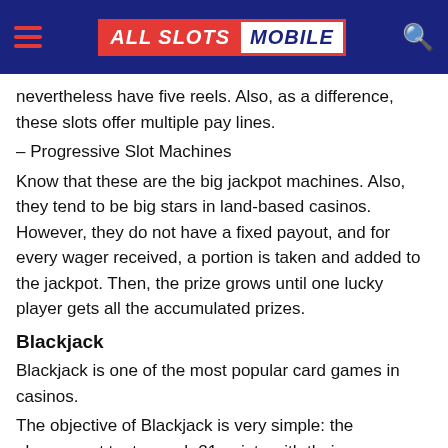ALL SLOTS MOBILE
nevertheless have five reels. Also, as a difference, these slots offer multiple pay lines.
– Progressive Slot Machines
Know that these are the big jackpot machines. Also, they tend to be big stars in land-based casinos. However, they do not have a fixed payout, and for every wager received, a portion is taken and added to the jackpot. Then, the prize grows until one lucky player gets all the accumulated prizes.
Blackjack
Blackjack is one of the most popular card games in casinos.
The objective of Blackjack is very simple: the player must try to reach 21 points with their cards, or at least get more points than the dealer.